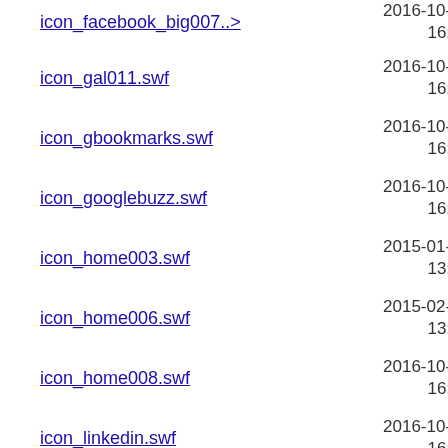icon_facebook_big007..> 2016-10-25 16:23 808
icon_gal011.swf 2016-10-25 16:23 5.9K
icon_gbookmarks.swf 2016-10-25 16:23 1.2K
icon_googlebuzz.swf 2016-10-25 16:23 1.2K
icon_home003.swf 2015-01-29 13:11 395
icon_home006.swf 2015-02-05 13:46 400
icon_home008.swf 2016-10-25 16:23 355
icon_linkedin.swf 2016-10-25 16:23 1.2K
icon_med011.swf 2016-10-25 16:23 4.7K
icon_music022.swf 2016-10-25 16:23 2.0K
icon_myspace.swf 2016-10-25 16:23 1.3K
icon_reddit.swf 2016-10-25 16:23 1.3K